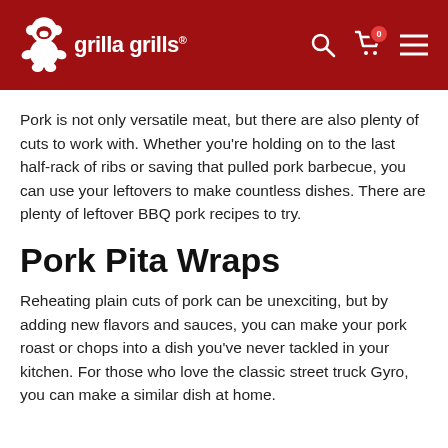[Figure (logo): Grilla Grills logo with gorilla mascot on dark red header bar with search, cart, and menu icons]
Pork is not only versatile meat, but there are also plenty of cuts to work with. Whether you're holding on to the last half-rack of ribs or saving that pulled pork barbecue, you can use your leftovers to make countless dishes. There are plenty of leftover BBQ pork recipes to try.
Pork Pita Wraps
Reheating plain cuts of pork can be unexciting, but by adding new flavors and sauces, you can make your pork roast or chops into a dish you've never tackled in your kitchen. For those who love the classic street truck Gyro, you can make a similar dish at home.